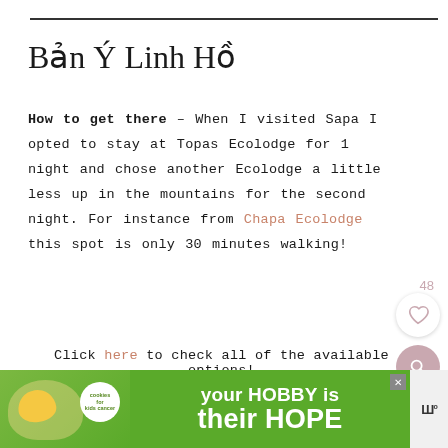Bản Ý Linh Hồ
How to get there – When I visited Sapa I opted to stay at Topas Ecolodge for 1 night and chose another Ecolodge a little less up in the mountains for the second night. For instance from Chapa Ecolodge this spot is only 30 minutes walking!
Click here to check all of the available options!
[Figure (other): Advertisement banner: cookies for kids cancer - your HOBBY is their HOPE]